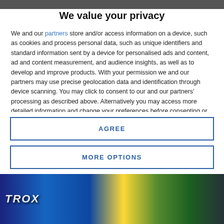We value your privacy
We and our partners store and/or access information on a device, such as cookies and process personal data, such as unique identifiers and standard information sent by a device for personalised ads and content, ad and content measurement, and audience insights, as well as to develop and improve products. With your permission we and our partners may use precise geolocation data and identification through device scanning. You may click to consent to our and our partners' processing as described above. Alternatively you may access more detailed information and change your preferences before consenting or to refuse consenting. Please note that some processing of your personal data may not require your consent, but you have a right to
AGREE
MORE OPTIONS
[Figure (photo): Colorful comic/animation style banner at the bottom of the page]